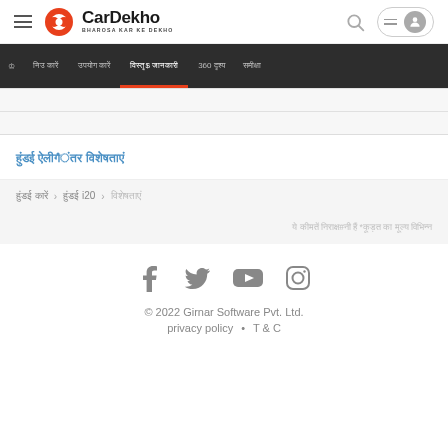CarDekho - BHAROSA KAR KE DEKHO
[Figure (screenshot): CarDekho website navigation bar with Hindi menu items and an active tab underlined in orange]
[Figure (screenshot): Hindi text link in blue]
Hindi breadcrumb: Home > i20 > specifications
Disclaimer note in Hindi with asterisk
[Figure (infographic): Social media icons: Facebook, Twitter, YouTube, Instagram]
© 2022 Girnar Software Pvt. Ltd.
privacy policy • T & C